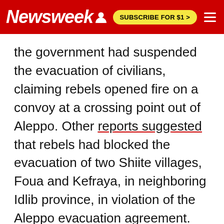Newsweek | SUBSCRIBE FOR $1 >
the government had suspended the evacuation of civilians, claiming rebels opened fire on a convoy at a crossing point out of Aleppo. Other reports suggested that rebels had blocked the evacuation of two Shiite villages, Foua and Kefraya, in neighboring Idlib province, in violation of the Aleppo evacuation agreement. Their evacuation was a last-minute condition from Iran under the Aleppo agreement. It is unclear how long the suspension will last.
The International Committee of the Red Cross